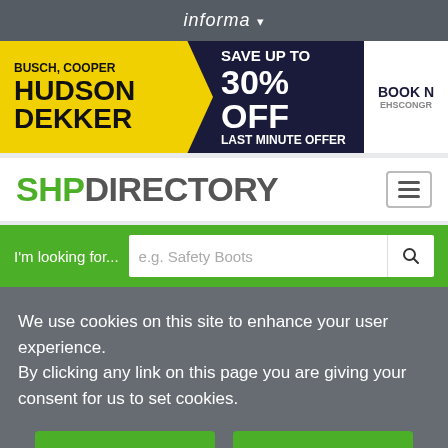informa ▾
[Figure (infographic): Ad banner: BUSCH, COOPER HUDSON DEKKER on yellow background, SAVE UP TO 30% OFF LAST MINUTE OFFER on dark navy background, BOOK N[OW] EHSCONGR[ESS] button]
SHP DIRECTORY
I'm looking for...  e.g. Safety Boots
We use cookies on this site to enhance your user experience.
By clicking any link on this page you are giving your consent for us to set cookies.
I AGREE
MORE INFO